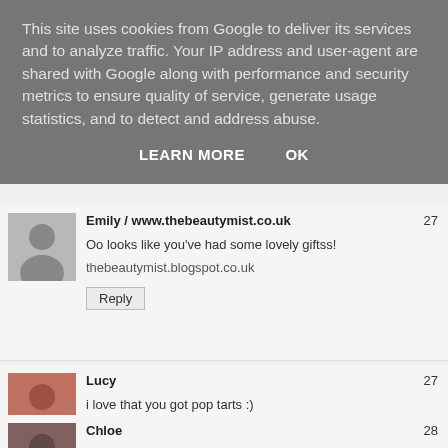This site uses cookies from Google to deliver its services and to analyze traffic. Your IP address and user-agent are shared with Google along with performance and security metrics to ensure quality of service, generate usage statistics, and to detect and address abuse.
LEARN MORE    OK
Emily / www.thebeautymist.co.uk
27
Oo looks like you've had some lovely giftss!
thebeautymist.blogspot.co.uk
Reply
Lucy
27
i love that you got pop tarts :)
Reply
Chloe
28